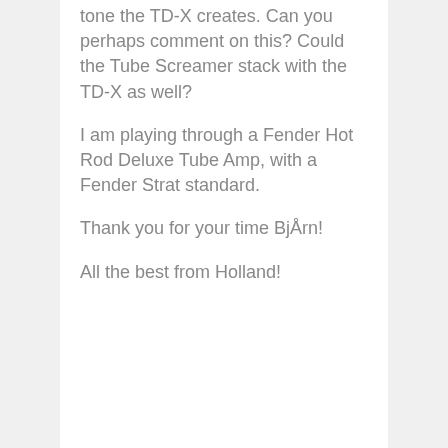tone the TD-X creates. Can you perhaps comment on this? Could the Tube Screamer stack with the TD-X as well?
I am playing through a Fender Hot Rod Deluxe Tube Amp, with a Fender Strat standard.
Thank you for your time Bjørn!
All the best from Holland!